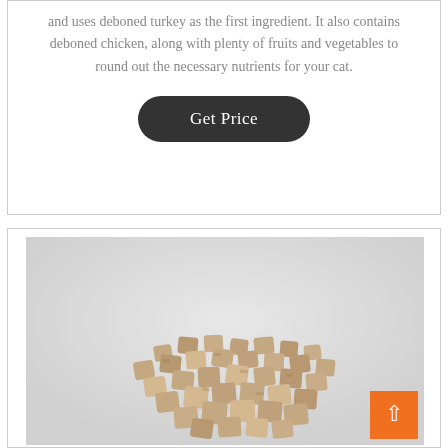and uses deboned turkey as the first ingredient. It also contains deboned chicken, along with plenty of fruits and vegetables to round out the necessary nutrients for your cat.
Get Price
[Figure (photo): A pile of small beige/tan kibble pieces or freeze-dried cat food chunks scattered on a light grey/white background.]